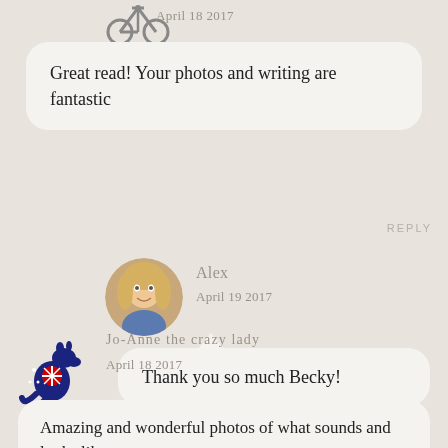[Figure (illustration): Bicycle icon avatar at top left area]
April 18 2017
Great read! Your photos and writing are fantastic
REPLY
[Figure (photo): Circular avatar photo of Alex, a blonde woman]
Alex
April 19 2017
Thank you so much Becky!
REPLY
[Figure (illustration): Australian kangaroo with flag icon for Jo-Anne]
Jo-Anne the crazy lady
April 18 2017
Amazing and wonderful photos of what sounds and looks like a...